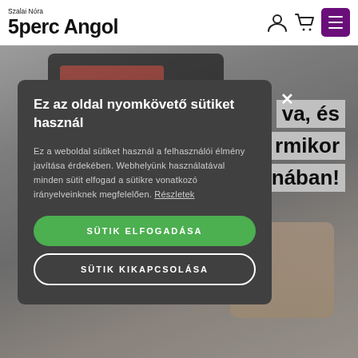[Figure (logo): 5perc Angol logo with 'Szalai Nóra' above in small text and '5perc Angol' in large bold text]
[Figure (screenshot): Website screenshot showing a background photo of hands and a tablet with a cookie consent modal dialog in Hungarian. The modal has a dark background with title 'Ez az oldal nyomkövető sütiket használ', descriptive text about cookies, and two buttons: 'SÜTIK ELFOGADÁSA' (green) and 'SÜTIK KIKAPCSOLÁSA' (outlined). Partial background text visible: 'va, és', 'rmikor', 'nában!']
Ez az oldal nyomkövető sütiket használ
Ez a weboldal sütiket használ a felhasználói élmény javítása érdekében. Webhelyünk használatával minden sütit elfogad a sütikre vonatkozó irányelveinknek megfelelően. Részletek